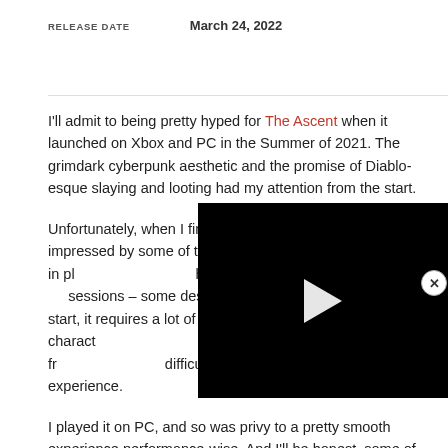RELEASE DATE   March 24, 2022
I'll admit to being pretty hyped for The Ascent when it launched on Xbox and PC in the Summer of 2021. The grimdark cyberpunk aesthetic and the promise of Diablo-esque slaying and looting had my attention from the start.
Unfortunately, when I finally came to review it I wasn't overly impressed by some of the elements. While it looks amazing in places and certainly has its high points – particularly in co-op sessions – some design choices held it back from the start, it requires a lot of walking between missions, and your character upgrades could superfast. It also suffered from some jarring difficulty spikes that made for a frustrating experience.
[Figure (screenshot): Black video player overlay with white play button triangle in center]
I played it on PC, and so was privy to a pretty smooth experience performance-wise. And I'll be honest, some of the backdrops are absolutely